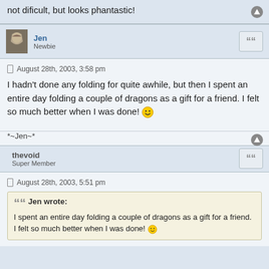not dificult, but looks phantastic!
Jen
Newbie
August 28th, 2003, 3:58 pm
I hadn't done any folding for quite awhile, but then I spent an entire day folding a couple of dragons as a gift for a friend. I felt so much better when I was done! :)
*~Jen~*
thevoid
Super Member
August 28th, 2003, 5:51 pm
Jen wrote:
I spent an entire day folding a couple of dragons as a gift for a friend. I felt so much better when I was done! :)